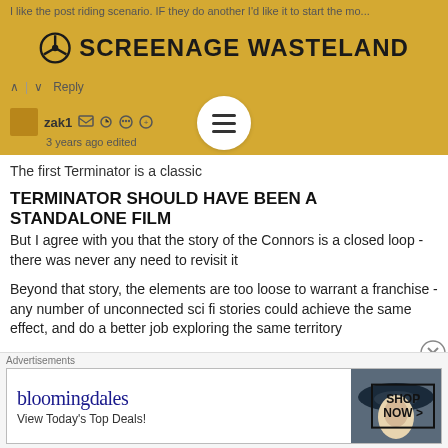I like the post riding scenario. IF they do another I'd like it to start the mo...
[Figure (logo): Screenage Wasteland logo with nuclear/radiation symbol icon and bold uppercase text]
zak1  3 years ago edited
The first Terminator is a classic
TERMINATOR SHOULD HAVE BEEN A STANDALONE FILM
But I agree with you that the story of the Connors is a closed loop - there was never any need to revisit it
Beyond that story, the elements are too loose to warrant a franchise - any number of unconnected sci fi stories could achieve the same effect, and do a better job exploring the same territory
ORIGINAL HAD UNIQUE COMBINATION OF ELEMENTS
What was beautiful about the first film was the very ordinary
[Figure (screenshot): Bloomingdale's advertisement banner: bloomingdales logo, 'View Today's Top Deals!' text, woman with hat image, SHOP NOW button]